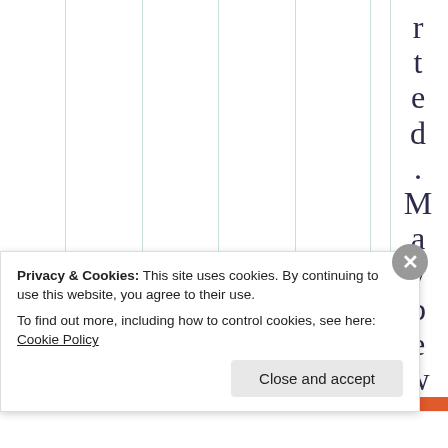[Figure (other): Partial view of a chart with vertical teal/green gridlines on white background, cropped at top. Right side shows large rotated/vertical text spelling 'rted. Maybe w' in serif font, dark navy color.]
Privacy & Cookies: This site uses cookies. By continuing to use this website, you agree to their use.
To find out more, including how to control cookies, see here: Cookie Policy
Close and accept